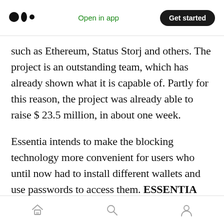Medium — Open in app | Get started
such as Ethereum, Status Storj and others. The project is an outstanding team, which has already shown what it is capable of. Partly for this reason, the project was already able to raise $ 23.5 million, in about one week.
Essentia intends to make the blocking technology more convenient for users who until now had to install different wallets and use passwords to access them. ESSENTIA will allow to obtain a single interface, which will be appreciated by users of crypto currency and blocking technology
Home | Search | Profile